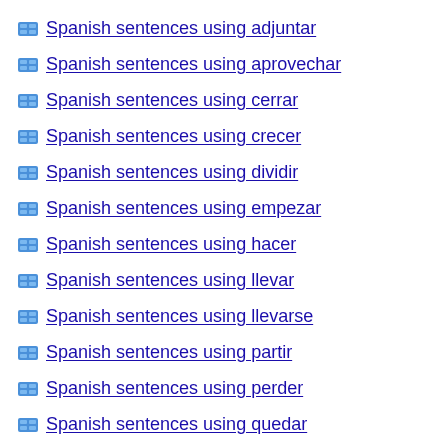Spanish sentences using adjuntar
Spanish sentences using aprovechar
Spanish sentences using cerrar
Spanish sentences using crecer
Spanish sentences using dividir
Spanish sentences using empezar
Spanish sentences using hacer
Spanish sentences using llevar
Spanish sentences using llevarse
Spanish sentences using partir
Spanish sentences using perder
Spanish sentences using quedar